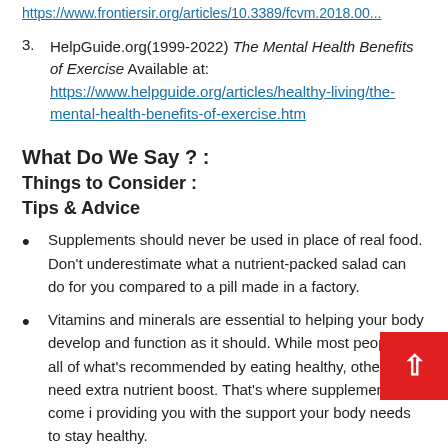https://www.frontiersir.org/articles/10.3389/fcvm.2018.00...
3. HelpGuide.org(1999-2022) The Mental Health Benefits of Exercise Available at: https://www.helpguide.org/articles/healthy-living/the-mental-health-benefits-of-exercise.htm
What Do We Say ? :
Things to Consider :
Tips & Advice
Supplements should never be used in place of real food. Don't underestimate what a nutrient-packed salad can do for you compared to a pill made in a factory.
Vitamins and minerals are essential to helping your body develop and function as it should. While most people get all of what's recommended by eating healthy, others need extra nutrient boost. That's where supplements come in, providing you with the support your body needs to stay healthy.